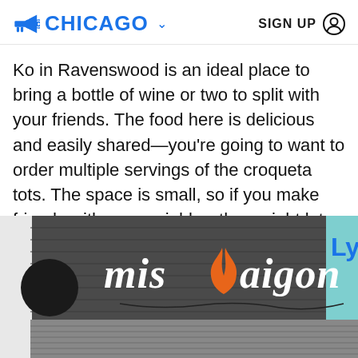CHICAGO   SIGN UP
Ko in Ravenswood is an ideal place to bring a bottle of wine or two to split with your friends. The food here is delicious and easily shared—you're going to want to order multiple servings of the croqueta tots. The space is small, so if you make friends with your neighbor they might let you taste the petite sirah they brought.
[Figure (photo): Exterior photo of Miss Saigon restaurant sign mounted on a dark gray wall, white letter lettering with an orange flame/swirl graphic between 'mis' and 'saigon', rooftop visible below, partial blue sign with 'Ly' on right edge.]